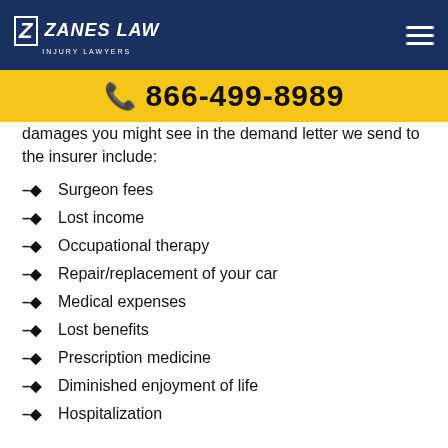Zanes Law Injury Lawyers — 866-499-8989
damages you might see in the demand letter we send to the insurer include:
Surgeon fees
Lost income
Occupational therapy
Repair/replacement of your car
Medical expenses
Lost benefits
Prescription medicine
Diminished enjoyment of life
Hospitalization